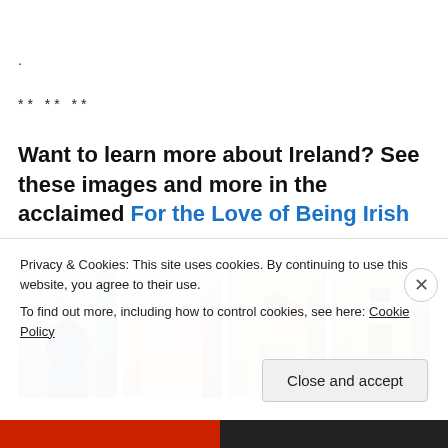.
** ** **
Want to learn more about Ireland? See these images and more in the acclaimed For the Love of Being Irish
[Figure (illustration): Four illustrated images showing Irish-themed artwork: JFK portrait illustration, elderly bearded man with woman illustration, man with glasses and flowers illustration, military officer marching illustration]
Privacy & Cookies: This site uses cookies. By continuing to use this website, you agree to their use.
To find out more, including how to control cookies, see here: Cookie Policy
Close and accept